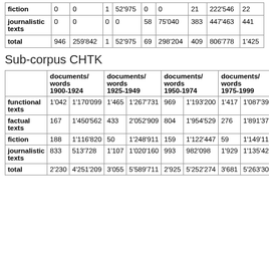| fiction | 0 | 0 | 1 | 52'975 | 0 | 0 | 21 | 222'546 | 22 |
| journalistic texts | 0 | 0 | 0 | 0 | 58 | 75'040 | 383 | 447'463 | 441 |
| total | 946 | 259'842 | 1 | 52'975 | 69 | 298'204 | 409 | 806'778 | 1'425 |
Sub-corpus CHTK
|  | documents/ words 1900-1924 |  | documents/ words 1925-1949 |  | documents/ words 1950-1974 |  | documents/ words 1975-1999 |  |
| --- | --- | --- | --- | --- | --- | --- | --- | --- |
| functional texts | 1'042 | 1'170'099 | 1'465 | 1'267'731 | 969 | 1'193'200 | 1'417 | 1'087'395 |
| factual texts | 167 | 1'450'562 | 433 | 2'052'909 | 804 | 1'954'529 | 276 | 1'891'373 |
| fiction | 188 | 1'116'820 | 50 | 1'248'911 | 159 | 1'122'447 | 59 | 1'149'111 |
| journalistic texts | 833 | 513'728 | 1'107 | 1'020'160 | 993 | 982'098 | 1'929 | 1'135'426 |
| total | 2'230 | 4'251'209 | 3'055 | 5'589'711 | 2'925 | 5'252'274 | 3'681 | 5'263'305 |